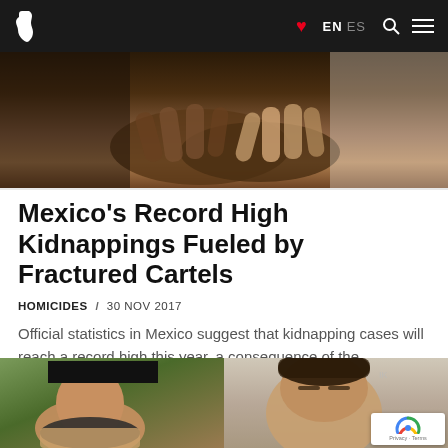EN ES
[Figure (photo): Close-up of hands clasped together, dark background]
Mexico's Record High Kidnappings Fueled by Fractured Cartels
HOMICIDES / 30 NOV 2017
Official statistics in Mexico suggest that kidnapping cases will reach a record high this year, a consequence of the atomization...
[Figure (photo): Photo of a heavy-set man with a dark scarf, face partially redacted with black bar]
[Figure (photo): Close-up photo of a man's face with short dark hair]